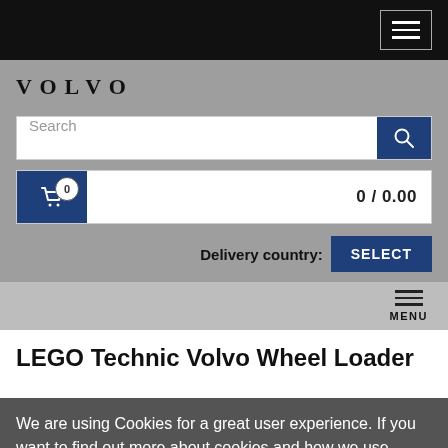Hamburger menu button (top bar)
[Figure (screenshot): Volvo online shop header with logo, search bar, cart, delivery country selector, and navigation menu]
LEGO Technic Volvo Wheel Loader
We are using Cookies for a great user experience. If you want to find out more about cookies and how we use them, please go to our cookie page. Further browsing of